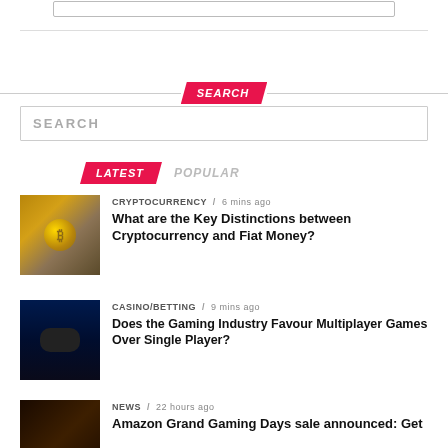SEARCH
SEARCH
SEARCH
LATEST   POPULAR
[Figure (photo): Gold Bitcoin coins close-up photo]
CRYPTOCURRENCY / 6 mins ago
What are the Key Distinctions between Cryptocurrency and Fiat Money?
[Figure (photo): Gaming controller with blue neon lighting on dark background]
CASINO/BETTING / 9 mins ago
Does the Gaming Industry Favour Multiplayer Games Over Single Player?
[Figure (photo): Amazon dark themed image with Amazon logo text]
NEWS / 22 hours ago
Amazon Grand Gaming Days sale announced: Get